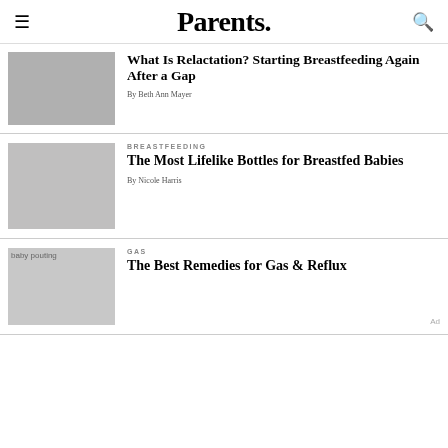Parents.
[Figure (photo): Person sitting cross-legged using a breast pump]
What Is Relactation? Starting Breastfeeding Again After a Gap
By Beth Ann Mayer
[Figure (photo): Woman feeding a baby with a bottle]
BREASTFEEDING
The Most Lifelike Bottles for Breastfed Babies
By Nicole Harris
[Figure (photo): baby pouting]
GAS
The Best Remedies for Gas & Reflux